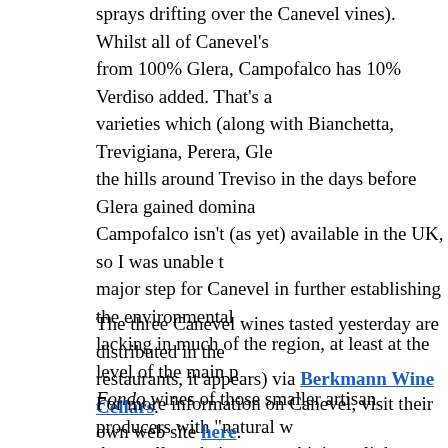sprays drifting over the Canevel vines). Whilst all of Canevel's from 100% Glera, Campofalco has 10% Verdiso added. That's a varieties which (along with Bianchetta, Trevigiana, Perera, Gle the hills around Treviso in the days before Glera gained domina
Campofalco isn't (as yet) available in the UK, so I was unable t major step for Canevel in further establishing the environmental lacking in much of the region, at least at the level of the main p Fondo wines of those smaller artisan producers with "natural w than well on their way to shining a light, through these quality-f Prosecco, and it is something very different to what many UK c become. Something altogether finer.
The three Canevel wines tasted yesterday are distributed in the UK (primarily to restaurants, it appears) via Berkmann Wine Cellars.
For more information on Canevel, visit their own web site here.